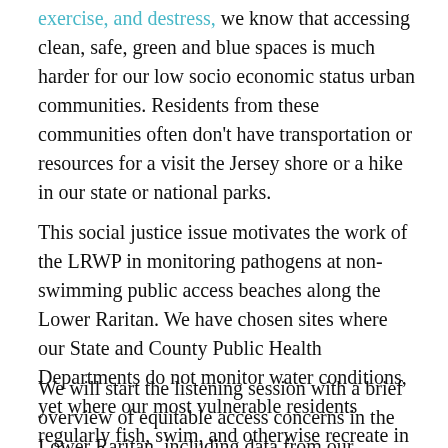exercise, and destress, we know that accessing clean, safe, green and blue spaces is much harder for our low socio economic status urban communities. Residents from these communities often don't have transportation or resources for a visit the Jersey shore or a hike in our state or national parks.
This social justice issue motivates the work of the LRWP in monitoring pathogens at non-swimming public access beaches along the Lower Raritan. We have chosen sites where our State and County Public Health Departments do not monitor water conditions, yet where our most vulnerable residents regularly fish, swim, and otherwise recreate in the water.
We will start the listening session with a brief overview of equitable access concerns in the Lower Raritan, including data from our Summer 2020 pathogens monitoring work.